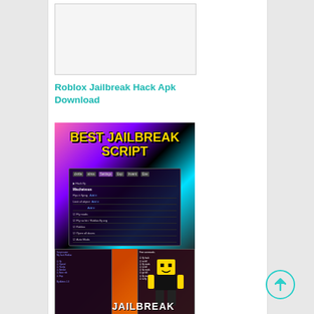[Figure (screenshot): White/blank placeholder image with light gray border]
Roblox Jailbreak Hack Apk Download
[Figure (screenshot): Best Jailbreak Script image showing colorful background with yellow text 'BEST JAILBREAK SCRIPT' and dark hack menu overlay]
Jailbreak Hack Script Download
[Figure (screenshot): Roblox Jailbreak hack image showing dark script menus on left and right, Roblox character in center, and JAILBREAK text at bottom on orange/red background]